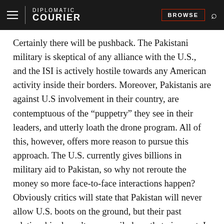DIPLOMATIC COURIER | BROWSE
Certainly there will be pushback. The Pakistani military is skeptical of any alliance with the U.S., and the ISI is actively hostile towards any American activity inside their borders. Moreover, Pakistanis are against U.S involvement in their country, are contemptuous of the “puppetry” they see in their leaders, and utterly loath the drone program. All of this, however, offers more reason to pursue this approach. The U.S. currently gives billions in military aid to Pakistan, so why not reroute the money so more face-to-face interactions happen? Obviously critics will state that Pakistan will never allow U.S. boots on the ground, but their past relationship doesn’t necessarily bear that view out. In 2009, the AFP reported the United States currently had more than 70 military advisors based in Pakistan. Further, Senior